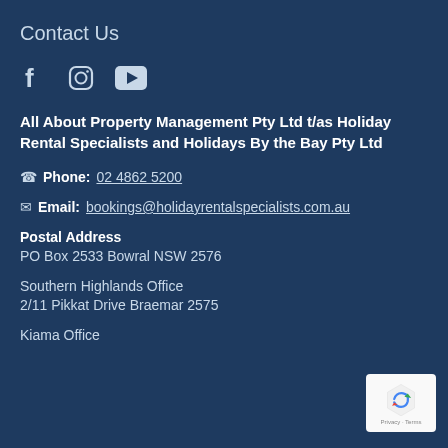Contact Us
[Figure (illustration): Social media icons: Facebook, Instagram, YouTube]
All About Property Management Pty Ltd t/as Holiday Rental Specialists and Holidays By the Bay Pty Ltd
Phone: 02 4862 5200
Email: bookings@holidayrentalspecialists.com.au
Postal Address
PO Box 2533 Bowral NSW 2576
Southern Highlands Office
2/11 Pikkat Drive Braemar 2575
Kiama Office